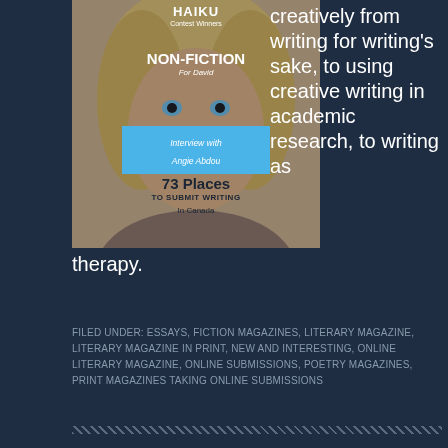[Figure (illustration): Magazine cover showing a woman's face with curly hair and blue eyes, with text overlays: HAIKU Contest Winners, NON-FICTION For David, Interview with Angie Abdou, 73 Places TO SUBMIT WRITING In Canada]
creatively from writing for writing's sake, to using creative writing in academic research, to writing as therapy.
FILED UNDER: ESSAYS, FICTION MAGAZINES, LITERARY MAGAZINE, LITERARY MAGAZINE IN PRINT, NEW AND INTERESTING, ONLINE LITERARY MAGAZINE, ONLINE SUBMISSIONS, POETRY MAGAZINES, PRINT MAGAZINES TAKING ONLINE SUBMISSIONS